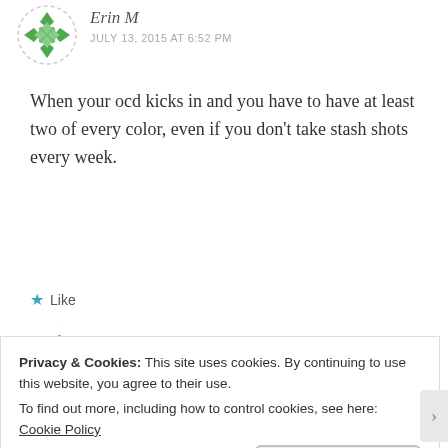[Figure (illustration): Green decorative avatar icon with diamond/cross pattern in a dashed circular border]
Erin M
JULY 13, 2015 AT 6:52 PM
When your ocd kicks in and you have to have at least two of every color, even if you don't take stash shots every week.
★ Like
Reply
Privacy & Cookies: This site uses cookies. By continuing to use this website, you agree to their use.
To find out more, including how to control cookies, see here: Cookie Policy
Close and accept